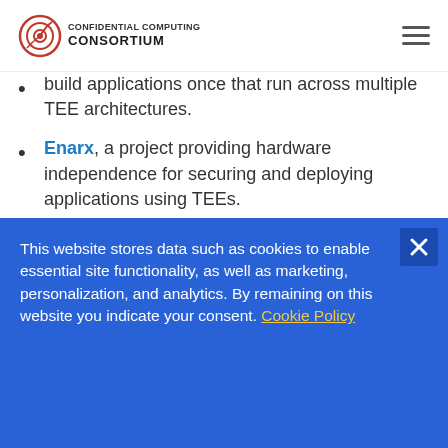Confidential Computing Consortium
build applications once that run across multiple TEE architectures.
Enarx, a project providing hardware independence for securing and deploying applications using TEEs.
As we come through the first quarter of 2020:
The TAC has debated at length a definition for confidential computing
This website stores data such as cookies to enable essential site functionality, as well as marketing, personalization, and analytics. By remaining on this website you indicate your consent. Cookie Policy